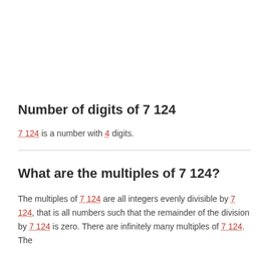Number of digits of 7 124
7 124 is a number with 4 digits.
What are the multiples of 7 124?
The multiples of 7 124 are all integers evenly divisible by 7 124, that is all numbers such that the remainder of the division by 7 124 is zero. There are infinitely many multiples of 7 124. The